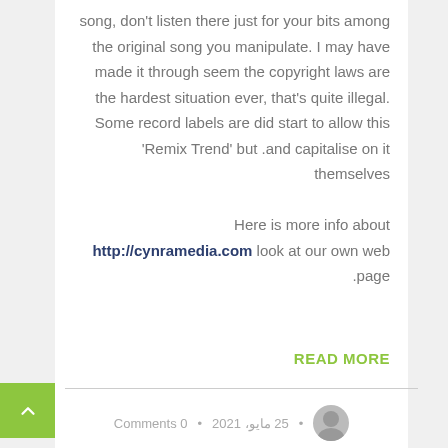song, don't listen there just for your bits among the original song you manipulate. I may have made it through seem the copyright laws are the hardest situation ever, that's quite illegal. Some record labels are did start to allow this 'Remix Trend' but and capitalise on it themselves. Here is more info about http://cynramedia.com look at our own web page.
READ MORE
Comments 0 • 25 مايو، 2021 •